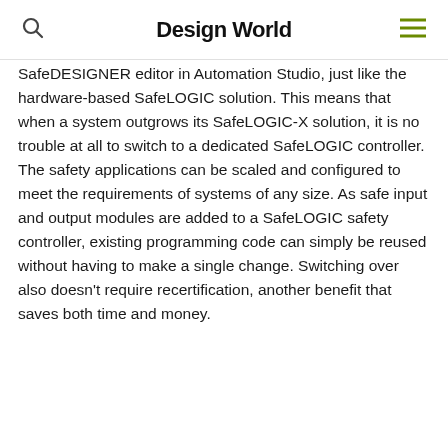Design World
SafeDESIGNER editor in Automation Studio, just like the hardware-based SafeLOGIC solution. This means that when a system outgrows its SafeLOGIC-X solution, it is no trouble at all to switch to a dedicated SafeLOGIC controller. The safety applications can be scaled and configured to meet the requirements of systems of any size. As safe input and output modules are added to a SafeLOGIC safety controller, existing programming code can simply be reused without having to make a single change. Switching over also doesn't require recertification, another benefit that saves both time and money.